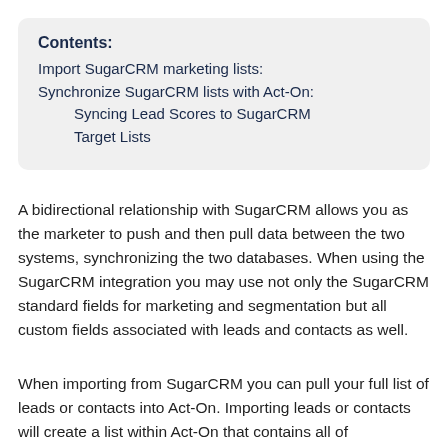Contents:
Import SugarCRM marketing lists:
Synchronize SugarCRM lists with Act-On:
Syncing Lead Scores to SugarCRM
Target Lists
A bidirectional relationship with SugarCRM allows you as the marketer to push and then pull data between the two systems, synchronizing the two databases. When using the SugarCRM integration you may use not only the SugarCRM standard fields for marketing and segmentation but all custom fields associated with leads and contacts as well.
When importing from SugarCRM you can pull your full list of leads or contacts into Act-On. Importing leads or contacts will create a list within Act-On that contains all of